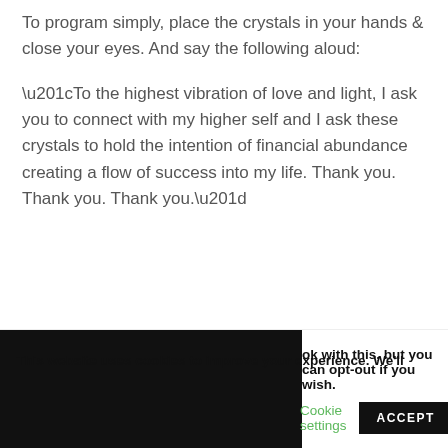To program simply, place the crystals in your hands & close your eyes. And say the following aloud:
“To the highest vibration of love and light, I ask you to connect with my higher self and I ask these crystals to hold the intention of financial abundance creating a flow of success into my life. Thank you. Thank you. Thank you.”
This website uses cookies to improve your experience. We’ll ok with this, but you can opt-out if you wish.